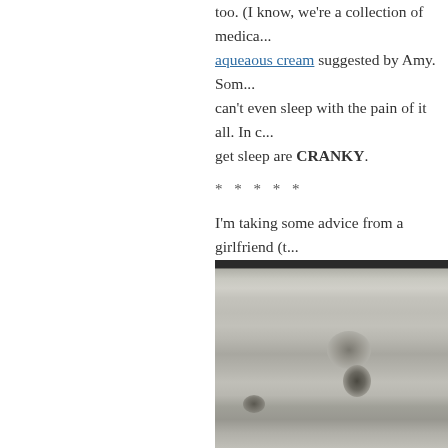too. (I know, we're a collection of medica... aqueaous cream suggested by Amy. Som... can't even sleep with the pain of it all. In c... get sleep are CRANKY.
* * * * *
I'm taking some advice from a girlfriend (t... had a couple of weeks back. The fact is, c... a lot of healthy eating and healthy exercis... have been gaining. My only indulgence - ... endured a number of tests (thyroid) and t... to wonder.
[Figure (photo): Black and white photograph of weathered wooden planks with knots and grain texture visible]